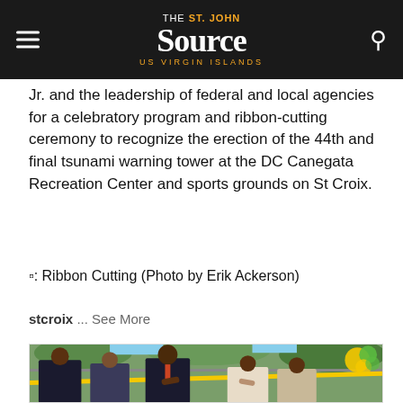The St. John Source - US Virgin Islands
Jr. and the leadership of federal and local agencies for a celebratory program and ribbon-cutting ceremony to recognize the erection of the 44th and final tsunami warning tower at the DC Canegata Recreation Center and sports grounds on St Croix.
🔲: Ribbon Cutting (Photo by Erik Ackerson)
stcroix ... See More
[Figure (photo): Group of officials standing at a ribbon-cutting ceremony outdoors, with a yellow ribbon across the foreground and a yellow and green bow decoration on the right side. Trees and fence visible in the background.]